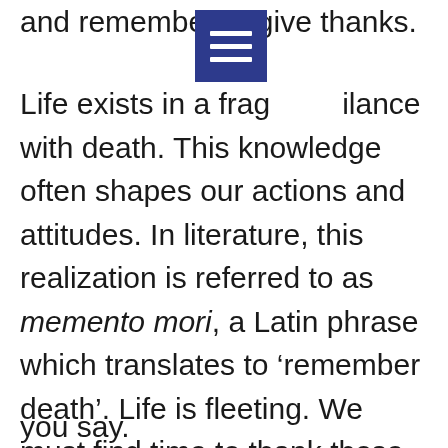and remember to give thanks.
[Figure (other): Dark blue square menu/hamburger icon with three horizontal white lines]
Life exists in a fragile balance with death. This knowledge often shapes our actions and attitudes. In literature, this realization is referred to as memento mori, a Latin phrase which translates to ‘remember death’. Life is fleeting. We must find time to thank those who seek to aid us, for we never know when our next opportunity will be. Take a moment to thank your supporters and really, truly mean what you say.